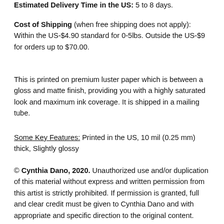Estimated Delivery Time in the US: 5 to 8 days.
Cost of Shipping (when free shipping does not apply): Within the US-$4.90 standard for 0-5lbs. Outside the US-$9 for orders up to $70.00.
This is printed on premium luster paper which is between a gloss and matte finish, providing you with a highly saturated look and maximum ink coverage. It is shipped in a mailing tube.
Some Key Features: Printed in the US, 10 mil (0.25 mm) thick, Slightly glossy
© Cynthia Dano, 2020. Unauthorized use and/or duplication of this material without express and written permission from this artist is strictly prohibited. If permission is granted, full and clear credit must be given to Cynthia Dano and with appropriate and specific direction to the original content.